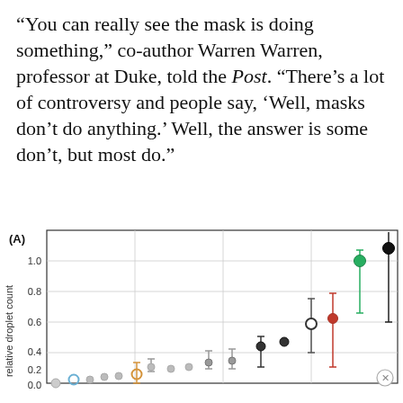“You can really see the mask is doing something,” co-author Warren Warren, professor at Duke, told the Post. “There’s a lot of controversy and people say, ‘Well, masks don’t do anything.’ Well, the answer is some don’t, but most do.”
[Figure (continuous-plot): Scatter plot with error bars showing relative droplet counts for various mask types. Y-axis ranges from 0.0 to above 1.0. Multiple data points shown in gray, blue, orange, red, green, and black colors with vertical error bars. Points are scattered along the x-axis with values ranging from near 0 to above 1.0.]